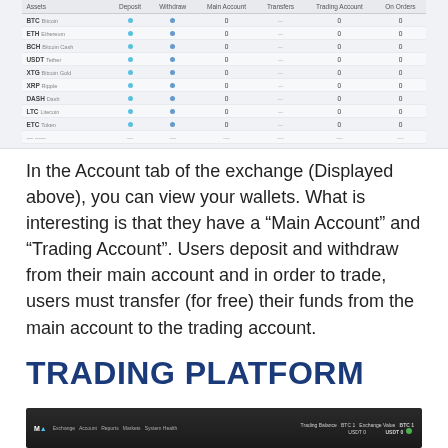[Figure (screenshot): Exchange account tab screenshot showing a table of cryptocurrency wallets with columns for Deposit, Withdraw, Main Account, Transfers, Trading Account, On Orders. Rows include BTC Bitcoin, ETH Ethereum, BCH Bitcoin Cash, USDT Tether, XTG Bitcoin Gold, XRP Ripple, DASH Dash, LTC Litecoin, ETC Token, and a partially visible row.]
In the Account tab of the exchange (Displayed above), you can view your wallets. What is interesting is that they have a “Main Account” and “Trading Account”. Users deposit and withdraw from their main account and in order to trade, users must transfer (for free) their funds from the main account to the trading account.
TRADING PLATFORM
[Figure (screenshot): Trading platform interface screenshot showing a dark navigation bar with logo, navigation links (Exchange, Account, Reports, Markets, System Health), trading balance and BTC/USDT values on the right side.]